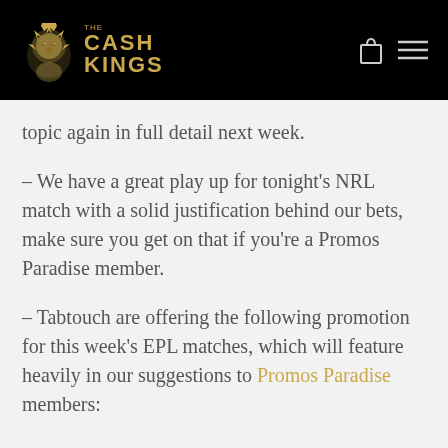[Figure (logo): The Cash Kings logo: golden lion head with golden text 'THE CASH KINGS' on black background header, with shopping bag icon and hamburger menu icon on the right.]
topic again in full detail next week.
– We have a great play up for tonight's NRL match with a solid justification behind our bets, make sure you get on that if you're a Promos Paradise member.
– Tabtouch are offering the following promotion for this week's EPL matches, which will feature heavily in our suggestions to Promos Paradise members: